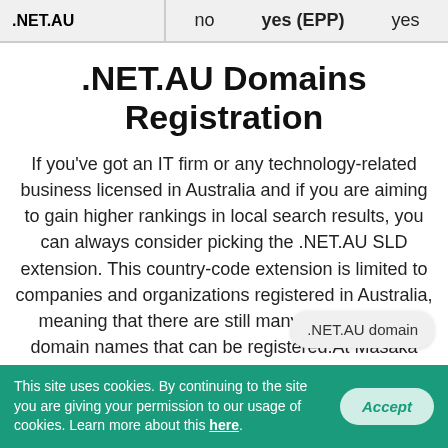| .NET.AU | no | yes (EPP) | yes |
| --- | --- | --- | --- |
.NET.AU Domains Registration
If you've got an IT firm or any technology-related business licensed in Australia and if you are aiming to gain higher rankings in local search results, you can always consider picking the .NET.AU SLD extension. This country-code extension is limited to companies and organizations registered in Australia, meaning that there are still many free .NET.AU domain names that can be registered.At Masaka Internet Services, you can register your .NET.AU domain name for 24 months at a time. The price for a two-year .NET.AU domain name registration is just £12.63.
This site uses cookies. By continuing to the site you are giving your permission to our usage of cookies. Learn more about this here.